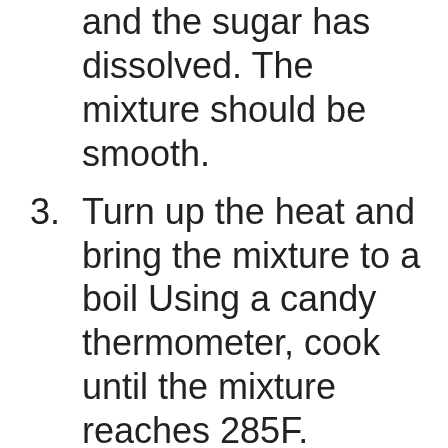and the sugar has dissolved. The mixture should be smooth.
3. Turn up the heat and bring the mixture to a boil Using a candy thermometer, cook until the mixture reaches 285F. Careully pour the mixture into your pan. Let Cool.
4. For even pieces: wait 15 - 20